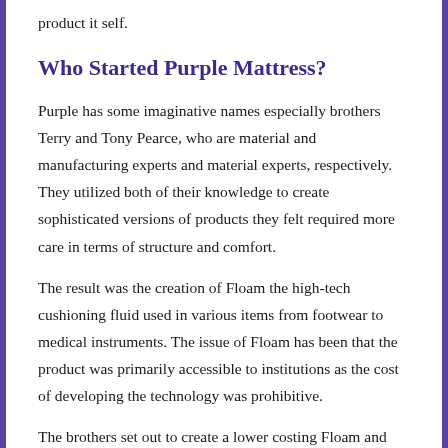product it self.
Who Started Purple Mattress?
Purple has some imaginative names especially brothers Terry and Tony Pearce, who are material and manufacturing experts and material experts, respectively. They utilized both of their knowledge to create sophisticated versions of products they felt required more care in terms of structure and comfort.
The result was the creation of Floam the high-tech cushioning fluid used in various items from footwear to medical instruments. The issue of Floam has been that the product was primarily accessible to institutions as the cost of developing the technology was prohibitive.
The brothers set out to create a lower costing Floam and then came up with their patented Hyper-elastic Polymer. It is soft,